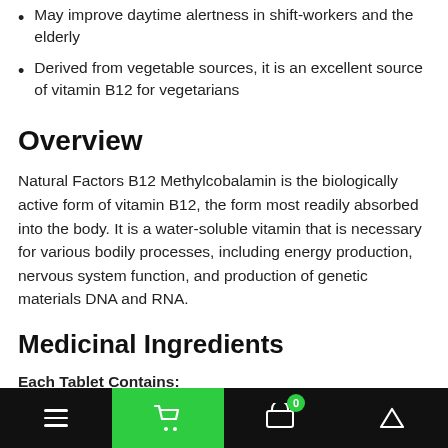May improve daytime alertness in shift-workers and the elderly
Derived from vegetable sources, it is an excellent source of vitamin B12 for vegetarians
Overview
Natural Factors B12 Methylcobalamin is the biologically active form of vitamin B12, the form most readily absorbed into the body. It is a water-soluble vitamin that is necessary for various bodily processes, including energy production, nervous system function, and production of genetic materials DNA and RNA.
Medicinal Ingredients
Each Tablet Contains:
Vitamin B12 (Methylcobalamin) 1000 mcg